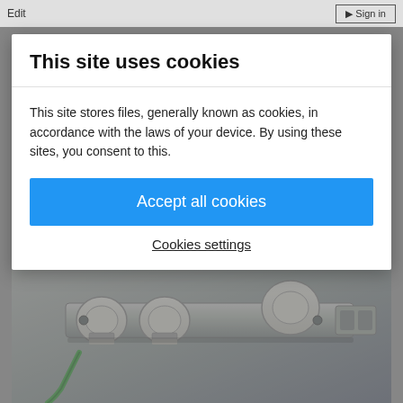Edit   Sign in
[Figure (photo): LED light module component, chrome/silver colored with multiple LED emitters mounted on a circuit board strip, photographed against a light gray background]
This site uses cookies
This site stores files, generally known as cookies, in accordance with the laws of your device. By using these sites, you consent to this.
Accept all cookies
Cookies settings